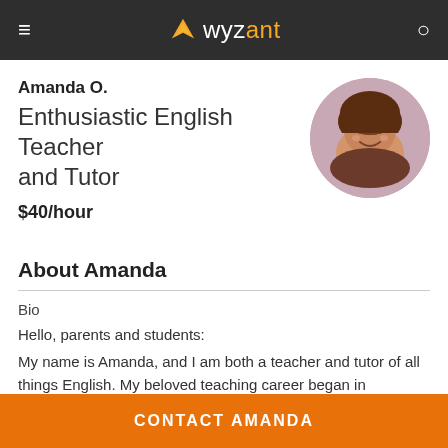wyzant
Amanda O.
Enthusiastic English Teacher and Tutor
$40/hour
[Figure (photo): Circular profile photo of Amanda O., a young woman with dark curly hair, blue eyes, and a bright smile.]
About Amanda
Bio
Hello, parents and students:
My name is Amanda, and I am both a teacher and tutor of all things English. My beloved teaching career began in Pittsburgh, Pennsylvania in 2010, where I taught many English and English